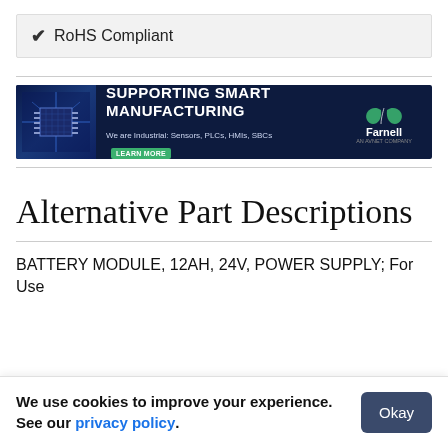✔ RoHS Compliant
[Figure (infographic): Farnell advertisement banner: SUPPORTING SMART MANUFACTURING. We are Industrial: Sensors, PLCs, HMIs, SBCs. LEARN MORE button. Farnell logo on right with blue circuit board background on left.]
Alternative Part Descriptions
BATTERY MODULE, 12AH, 24V, POWER SUPPLY; For Use
We use cookies to improve your experience. See our privacy policy.